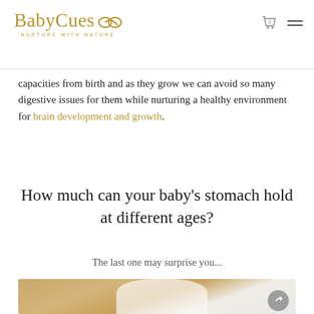BabyCues - NURTURE WITH NATURE
capacities from birth and as they grow we can avoid so many digestive issues for them while nurturing a healthy environment for brain development and growth.
How much can your baby's stomach hold at different ages?
The last one may surprise you...
[Figure (photo): Photo of a baby bottle/nipple lying on a wooden surface]